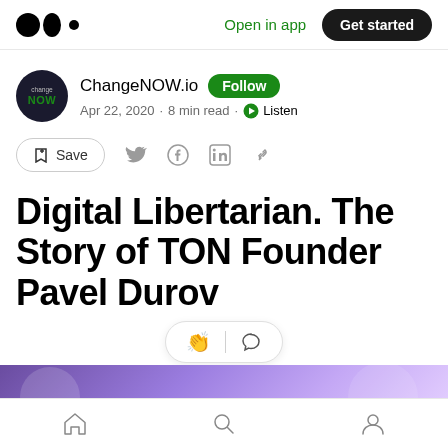Open in app  Get started
ChangeNOW.io  Follow
Apr 22, 2020 · 8 min read · Listen
Save
Digital Libertarian. The Story of TON Founder Pavel Durov
[Figure (screenshot): Purple gradient hero image strip at bottom of article header]
Home  Search  Profile